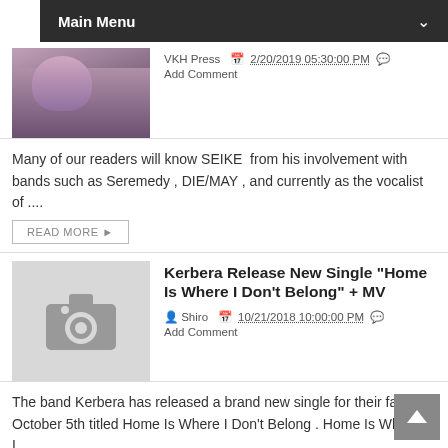Main Menu
VKH Press  2/20/2019 05:30:00 PM  Add Comment
Many of our readers will know SEIKE  from his involvement with bands such as Seremedy , DIE/MAY , and currently as the vocalist of ....
READ MORE ▶
Kerbera Release New Single "Home Is Where I Don't Belong" + MV
Shiro  10/21/2018 10:00:00 PM  Add Comment
The band Kerbera has released a brand new single for their fans on October 5th titled Home Is Where I Don't Belong . Home Is Where I...
READ MORE ▶